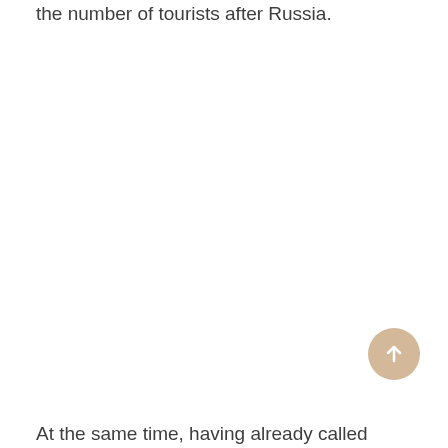the number of tourists after Russia.
[Figure (other): Circular scroll-to-top button with upward arrow, beige/tan background]
At the same time, having already called